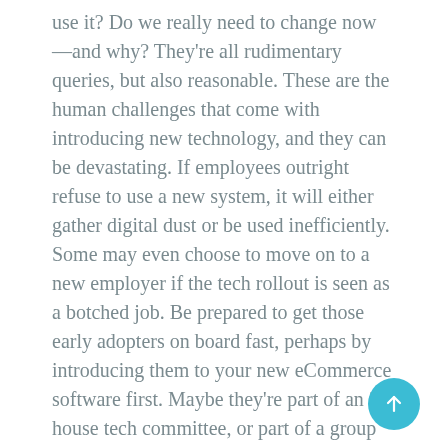use it? Do we really need to change now—and why? They're all rudimentary queries, but also reasonable. These are the human challenges that come with introducing new technology, and they can be devastating. If employees outright refuse to use a new system, it will either gather digital dust or be used inefficiently. Some may even choose to move on to a new employer if the tech rollout is seen as a botched job. Be prepared to get those early adopters on board fast, perhaps by introducing them to your new eCommerce software first. Maybe they're part of an in-house tech committee, or part of a group that volunteers to beta the new platform. Whatever the case, your initiative stands a far greater chance of success if they buy into the process in advance of their colleagues. Training is crucial once a new system has